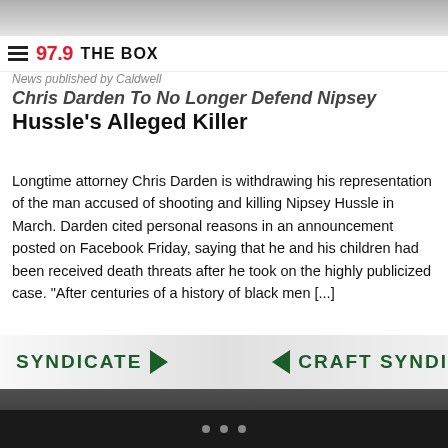[Figure (photo): Top portion of a person, partially visible, grayscale]
97.9 THE BOX
News published by Caldwell
Chris Darden To No Longer Defend Nipsey Hussle's Alleged Killer
Longtime attorney Chris Darden is withdrawing his representation of the man accused of shooting and killing Nipsey Hussle in March. Darden cited personal reasons in an announcement posted on Facebook Friday, saying that he and his children had been received death threats after he took on the highly publicized case. “After centuries of a history of black men [...]
[Figure (photo): Photo of Nipsey Hussle at an event with 'SYNDICATE' and 'CRAFT SYNDI' banners visible in background]